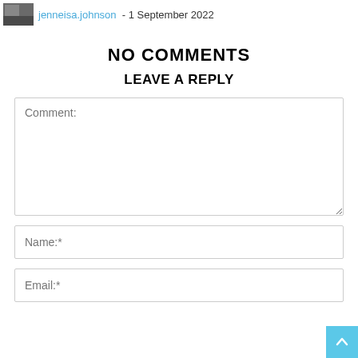jenneisa.johnson - 1 September 2022
NO COMMENTS
LEAVE A REPLY
Comment:
Name:*
Email:*